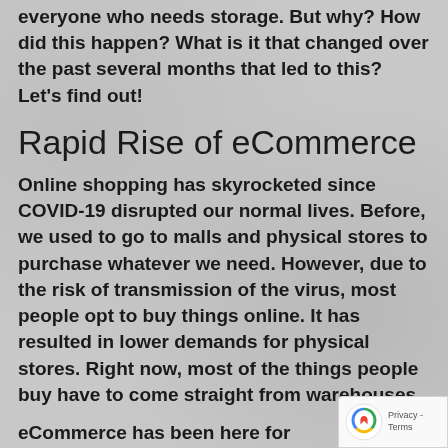everyone who needs storage. But why? How did this happen? What is it that changed over the past several months that led to this? Let's find out!
Rapid Rise of eCommerce
Online shopping has skyrocketed since COVID-19 disrupted our normal lives. Before, we used to go to malls and physical stores to purchase whatever we need. However, due to the risk of transmission of the virus, most people opt to buy things online. It has resulted in lower demands for physical stores. Right now, most of the things people buy have to come straight from warehouses.
eCommerce has been here for decades. It is not something new that disrupted how warehouses manage their storage. But the pandemic amplified...